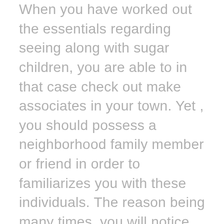When you have worked out the essentials regarding seeing along with sugar children, you are able to in that case check out make associates in your town. Yet , you should possess a neighborhood family member or friend in order to familiarizes you with these individuals. The reason being many times, you will notice that unique ingredients that the foreign ladies or perhaps men demand to meet up with with the occassions. When you have someone who that they meet with, it will make it rather easy for one to discuss with all of them.